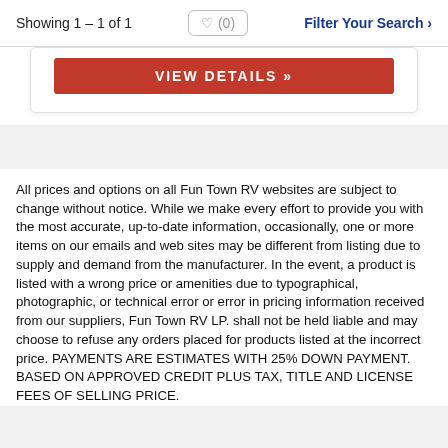Showing 1 – 1 of 1  ♥ (0)  Filter Your Search ›
[Figure (screenshot): Red VIEW DETAILS » button inside a white card on a gray background]
All prices and options on all Fun Town RV websites are subject to change without notice. While we make every effort to provide you with the most accurate, up-to-date information, occasionally, one or more items on our emails and web sites may be different from listing due to supply and demand from the manufacturer. In the event, a product is listed with a wrong price or amenities due to typographical, photographic, or technical error or error in pricing information received from our suppliers, Fun Town RV LP. shall not be held liable and may choose to refuse any orders placed for products listed at the incorrect price. PAYMENTS ARE ESTIMATES WITH 25% DOWN PAYMENT. BASED ON APPROVED CREDIT PLUS TAX, TITLE AND LICENSE FEES OF SELLING PRICE.